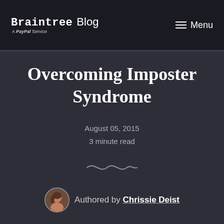Braintree Blog — A PayPal Service | Menu
Overcoming Imposter Syndrome
August 05, 2015
3 minute read
Authored by Chrissie Deist